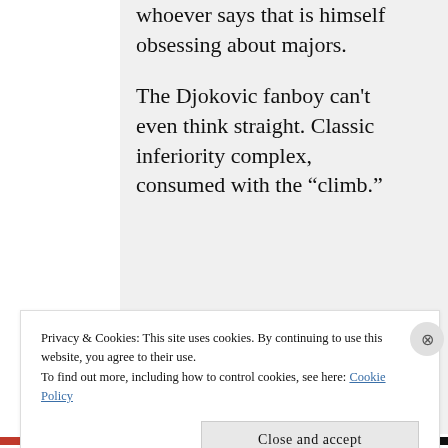major is indicative that whoever says that is himself obsessing about majors.
The Djokovic fanboy can't even think straight. Classic inferiority complex, consumed with the “climb.”
Privacy & Cookies: This site uses cookies. By continuing to use this website, you agree to their use.
To find out more, including how to control cookies, see here: Cookie Policy